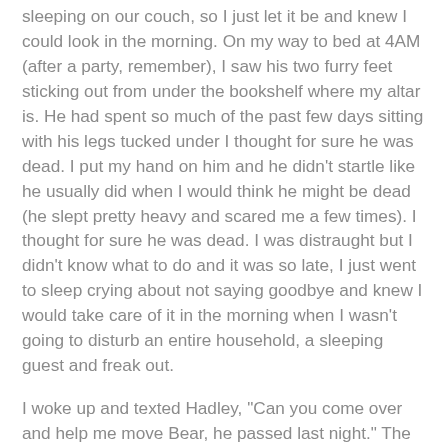sleeping on our couch, so I just let it be and knew I could look in the morning. On my way to bed at 4AM (after a party, remember), I saw his two furry feet sticking out from under the bookshelf where my altar is. He had spent so much of the past few days sitting with his legs tucked under I thought for sure he was dead. I put my hand on him and he didn't startle like he usually did when I would think he might be dead (he slept pretty heavy and scared me a few times). I thought for sure he was dead. I was distraught but I didn't know what to do and it was so late, I just went to sleep crying about not saying goodbye and knew I would take care of it in the morning when I wasn't going to disturb an entire household, a sleeping guest and freak out.
I woke up and texted Hadley, "Can you come over and help me move Bear, he passed last night." The last thing I wanted to do was interact with his dead body. Hadley was on their way over when I peeked under my altar